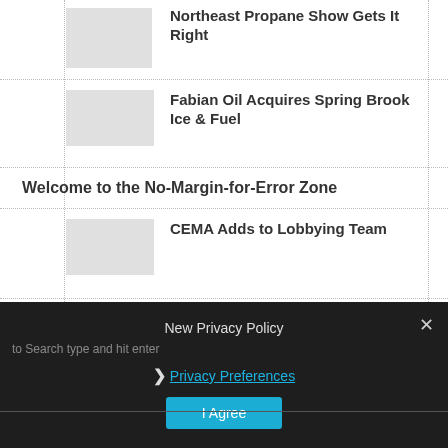Northeast Propane Show Gets It Right
Fabian Oil Acquires Spring Brook Ice & Fuel
Welcome to the No-Margin-for-Error Zone
CEMA Adds to Lobbying Team
New Privacy Policy
to Search type and hit enter
Privacy Preferences
I Agree